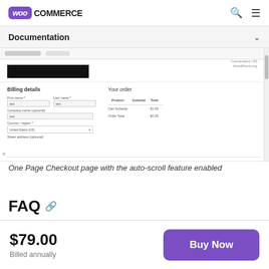WooCommerce
Documentation
[Figure (screenshot): Screenshot of a One Page Checkout page showing billing details form on the left (First name, Last name, Company name, Country, Street address fields) and Your order summary on the right (Product, Subtotal, Total columns with Cart Subtotal $1.00 and Order Total $0.00)]
One Page Checkout page with the auto-scroll feature enabled
FAQ 🔗
$79.00
Billed annually
Buy Now